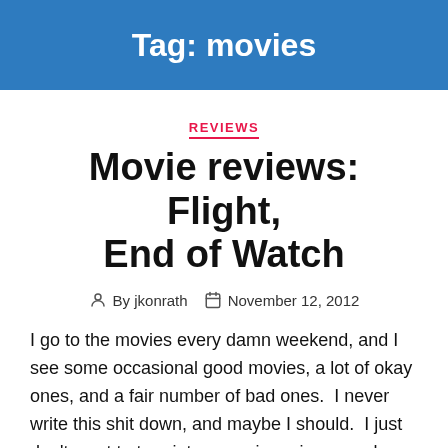Tag: movies
REVIEWS
Movie reviews: Flight, End of Watch
By jkonrath   November 12, 2012
I go to the movies every damn weekend, and I see some occasional good movies, a lot of okay ones, and a fair number of bad ones.  I never write this shit down, and maybe I should.  I just don't want to turn into a movie reviewer and have to remember how many stars I gave